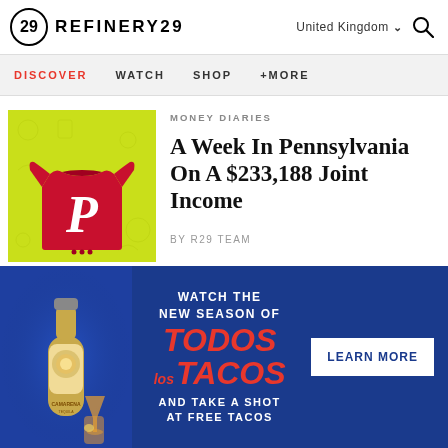REFINERY29 | United Kingdom | Search
DISCOVER  WATCH  SHOP  +MORE
[Figure (photo): Red Phillies baby onesie on a yellow-green illustrated background]
MONEY DIARIES
A Week In Pennsylvania On A $233,188 Joint Income
by R29 TEAM
MONEY DIARIES
[Figure (photo): Partial view of second Money Diaries article image]
[Figure (illustration): Advertisement: Watch the New Season of Todos Los Tacos and take a shot at free tacos. Camarena tequila bottle with cocktail. Learn More button.]